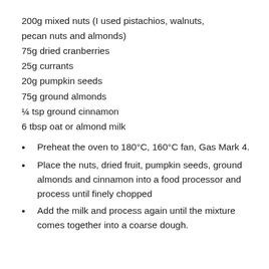200g mixed nuts (I used pistachios, walnuts, pecan nuts and almonds)
75g dried cranberries
25g currants
20g pumpkin seeds
75g ground almonds
¼ tsp ground cinnamon
6 tbsp oat or almond milk
Preheat the oven to 180°C, 160°C fan, Gas Mark 4.
Place the nuts, dried fruit, pumpkin seeds, ground almonds and cinnamon into a food processor and process until finely chopped
Add the milk and process again until the mixture comes together into a coarse dough.